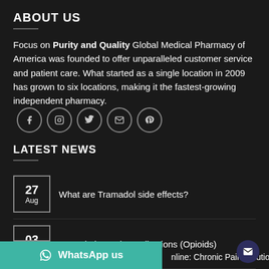ABOUT US
Focus on Purity and Quality Global Medical Pharmacy of America was founded to offer unparalleled customer service and patient care. What started as a single location in 2009 has grown to six locations, making it the fastest-growing independent pharmacy.
[Figure (infographic): Row of five social media icon circles: Facebook, Instagram, Twitter, Email, Pinterest]
LATEST NEWS
27 Aug — What are Tramadol side effects?
03 Jul — Prescription Pain Medications (Opioids)
nline: Chronic Pain Solution
[Figure (infographic): WhatsApp us button bar (teal), mail icon button (dark blue circle)]